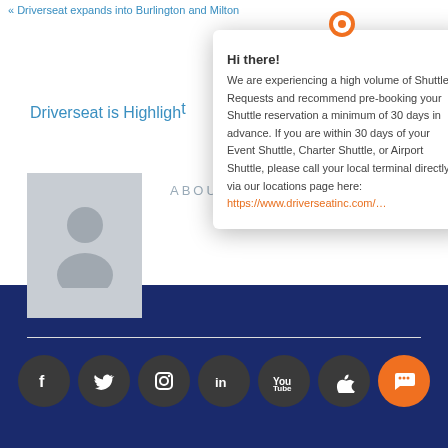« Driverseat expands into Burlington and Milton
Driverseat is Highlight
ABOUT TH
[Figure (illustration): Generic user avatar placeholder (gray silhouette on gray background)]
[Figure (infographic): Popup modal with location pin icon, close button, bold 'Hi there!' title, message about high volume of Shuttle Requests recommending pre-booking 30 days in advance, and an orange link to driverseatinc.com]
Social media icons: Facebook, Twitter, Instagram, LinkedIn, YouTube, Apple, Chat (orange)